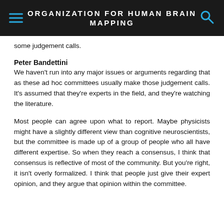ORGANIZATION FOR HUMAN BRAIN MAPPING
some judgement calls.
Peter Bandettini
We haven't run into any major issues or arguments regarding that as these ad hoc committees usually make those judgement calls. It's assumed that they're experts in the field, and they're watching the literature.
Most people can agree upon what to report. Maybe physicists might have a slightly different view than cognitive neuroscientists, but the committee is made up of a group of people who all have different expertise. So when they reach a consensus, I think that consensus is reflective of most of the community. But you're right, it isn't overly formalized. I think that people just give their expert opinion, and they argue that opinion within the committee.